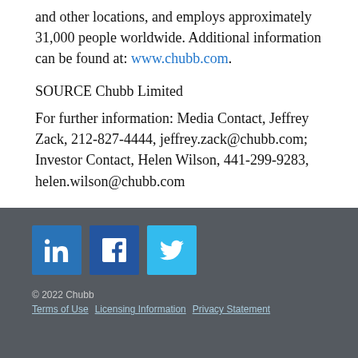and other locations, and employs approximately 31,000 people worldwide. Additional information can be found at: www.chubb.com.
SOURCE Chubb Limited
For further information: Media Contact, Jeffrey Zack, 212-827-4444, jeffrey.zack@chubb.com; Investor Contact, Helen Wilson, 441-299-9283, helen.wilson@chubb.com
[Figure (logo): LinkedIn, Facebook, and Twitter social media icons as colored square buttons]
© 2022 Chubb
Terms of Use   Licensing Information   Privacy Statement